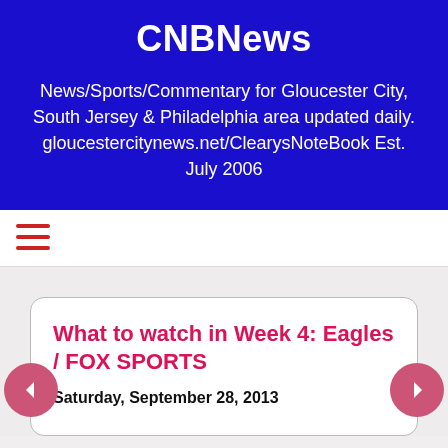CNBNews
News/Sports/Commentary for Gloucester City, South Jersey & Philadelphia area updated daily. gloucestercitynews.net/ClearysNoteBook Est. July 2006
[Figure (other): Hamburger menu icon with three horizontal red lines]
What to watch in Week 4: Eagles / FOX SPORTS
Saturday, September 28, 2013